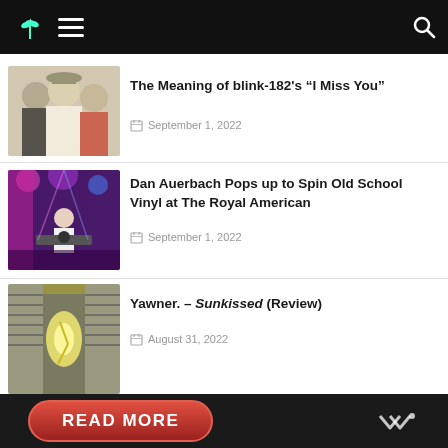Music blog navigation header with logo, hamburger menu, and search icon
The Meaning of blink-182's “I Miss You”
September 1, 2022
Dan Auerbach Pops up to Spin Old School Vinyl at The Royal American
September 1, 2022
Yawner. – Sunkissed (Review)
August 31, 2022
READ MORE